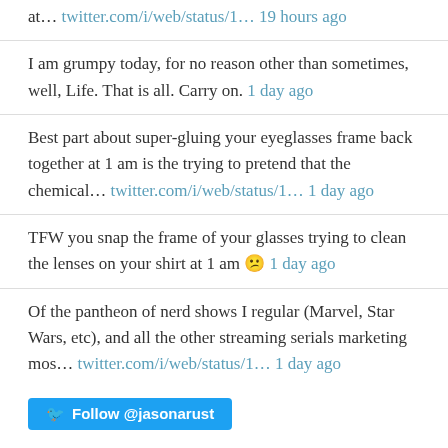at... twitter.com/i/web/status/1... 19 hours ago
I am grumpy today, for no reason other than sometimes, well, Life. That is all. Carry on. 1 day ago
Best part about super-gluing your eyeglasses frame back together at 1 am is the trying to pretend that the chemical... twitter.com/i/web/status/1... 1 day ago
TFW you snap the frame of your glasses trying to clean the lenses on your shirt at 1 am 😕 1 day ago
Of the pantheon of nerd shows I regular (Marvel, Star Wars, etc), and all the other streaming serials marketing mos... twitter.com/i/web/status/1... 1 day ago
Follow @jasonarust